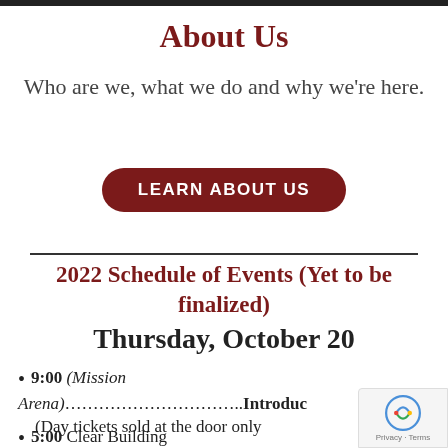About Us
Who are we, what we do and why we're here.
LEARN ABOUT US
2022 Schedule of Events (Yet to be finalized)
Thursday, October 20
9:00 (Mission Arena)………………….…Introduc (Day tickets sold at the door only
5:00 Clear Building